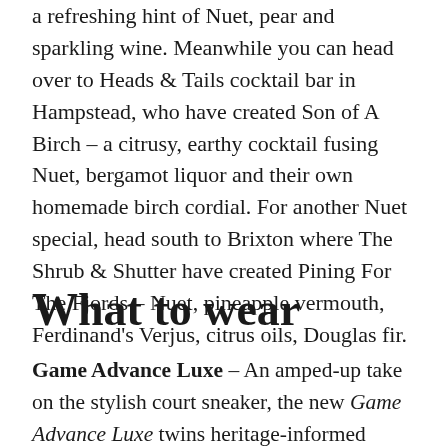a refreshing hint of Nuet, pear and sparkling wine. Meanwhile you can head over to Heads & Tails cocktail bar in Hampstead, who have created Son of A Birch – a citrusy, earthy cocktail fusing Nuet, bergamot liquor and their own homemade birch cordial. For another Nuet special, head south to Brixton where The Shrub & Shutter have created Pining For The Fjords – Nuet, pineapple vermouth, Ferdinand's Verjus, citrus oils, Douglas fir.
What to wear
Game Advance Luxe – An amped-up take on the stylish court sneaker, the new Game Advance Luxe twins heritage-informed details with a contemporary, streetwear-inspired flair. Leather and suede uppers sit on sculpted outsoles and showcase a